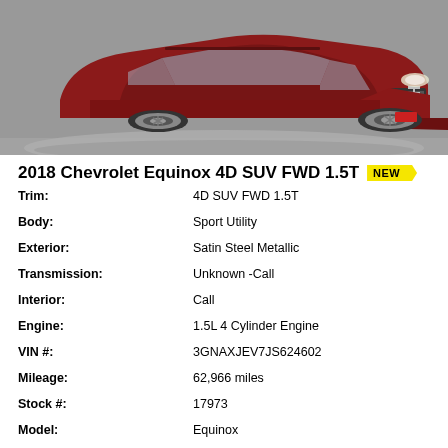[Figure (photo): Front 3/4 view of a 2018 Chevrolet Equinox SUV in dark red/maroon color parked indoors on a gray floor]
2018 Chevrolet Equinox 4D SUV FWD 1.5T NEW
| Attribute | Value |
| --- | --- |
| Trim: | 4D SUV FWD 1.5T |
| Body: | Sport Utility |
| Exterior: | Satin Steel Metallic |
| Transmission: | Unknown -Call |
| Interior: | Call |
| Engine: | 1.5L 4 Cylinder Engine |
| VIN #: | 3GNAXJEV7JS624602 |
| Mileage: | 62,966 miles |
| Stock #: | 17973 |
| Model: | Equinox |
| Price: | $24,500 |